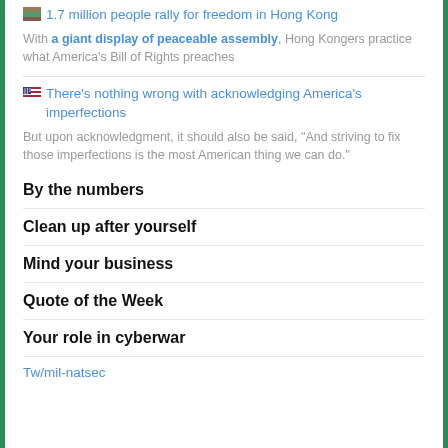1.7 million people rally for freedom in Hong Kong
With a giant display of peaceable assembly, Hong Kongers practice what America's Bill of Rights preaches
There's nothing wrong with acknowledging America's imperfections
But upon acknowledgment, it should also be said, "And striving to fix those imperfections is the most American thing we can do."
By the numbers
Clean up after yourself
Mind your business
Quote of the Week
Your role in cyberwar
Tw/mil-natsec